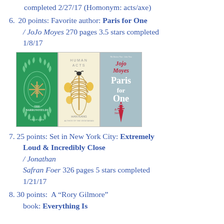completed 2/27/17 (Homonym: acts/axe)
6. 20 points: Favorite author: Paris for One / JoJo Moyes 270 pages 3.5 stars completed 1/8/17
[Figure (photo): Three book covers side by side: The Barrowfields by Phillip Lewis (green cover with decorative wreath and hourglass design), Human Acts by Han Kang (cream cover with ribcage illustration), and Paris for One & Other Stories by Jojo Moyes (light blue cover with red Eiffel Tower)]
7. 25 points: Set in New York City: Extremely Loud & Incredibly Close / Jonathan Safran Foer 326 pages 5 stars completed 1/21/17
8. 30 points: A "Rory Gilmore" book: Everything Is